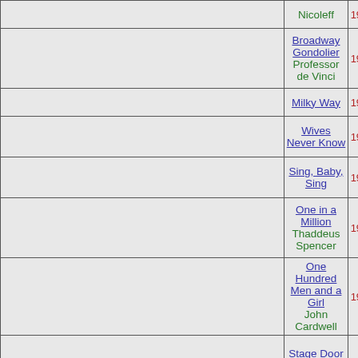|  | Title / Role | Year |
| --- | --- | --- |
|  | Nicoleff | 193 |
|  | Broadway Gondolier
Professor de Vinci | 193 |
|  | Milky Way | 193 |
|  | Wives Never Know | 193 |
|  | Sing, Baby, Sing | 193 |
|  | One in a Million
Thaddeus Spencer | 193 |
|  | One Hundred Men and a Girl
John Cardwell | 193 |
|  | Stage Door
Anthony Powell | 193 |